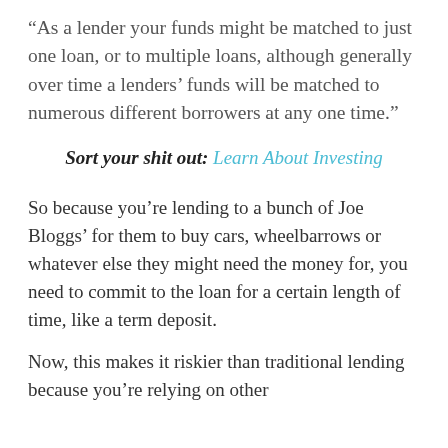“As a lender your funds might be matched to just one loan, or to multiple loans, although generally over time a lenders’ funds will be matched to numerous different borrowers at any one time.”
Sort your shit out: Learn About Investing
So because you’re lending to a bunch of Joe Bloggs’ for them to buy cars, wheelbarrows or whatever else they might need the money for, you need to commit to the loan for a certain length of time, like a term deposit.
Now, this makes it riskier than traditional lending because you’re relying on other